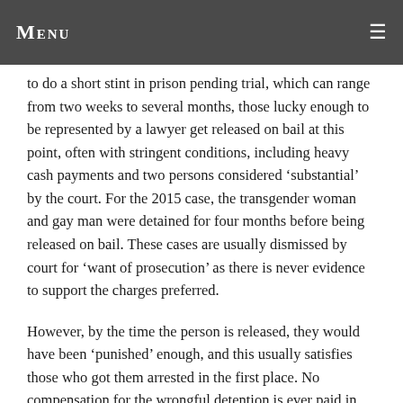Menu
to do a short stint in prison pending trial, which can range from two weeks to several months, those lucky enough to be represented by a lawyer get released on bail at this point, often with stringent conditions, including heavy cash payments and two persons considered ‘substantial’ by the court. For the 2015 case, the transgender woman and gay man were detained for four months before being released on bail. These cases are usually dismissed by court for ‘want of prosecution’ as there is never evidence to support the charges preferred.
However, by the time the person is released, they would have been ‘punished’ enough, and this usually satisfies those who got them arrested in the first place. No compensation for the wrongful detention is ever paid in